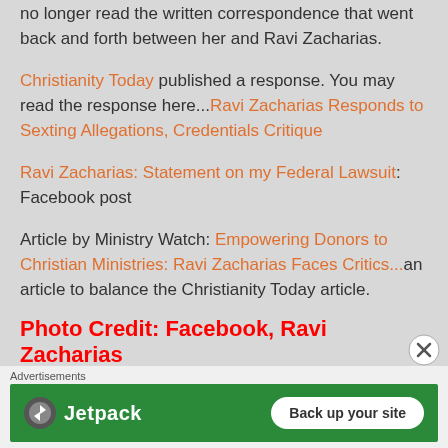no longer read the written correspondence that went back and forth between her and Ravi Zacharias.
Christianity Today published a response. You may read the response here...Ravi Zacharias Responds to Sexting Allegations, Credentials Critique
Ravi Zacharias: Statement on my Federal Lawsuit: Facebook post
Article by Ministry Watch: Empowering Donors to Christian Ministries: Ravi Zacharias Faces Critics...an article to balance the Christianity Today article.
Photo Credit: Facebook, Ravi Zacharias
[Figure (other): Jetpack advertisement banner with green background, Jetpack logo and 'Back up your site' button]